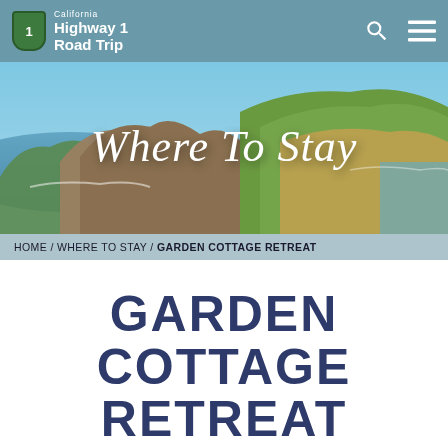California Highway 1 Road Trip
[Figure (photo): Aerial coastal landscape with rocky cliffs, green hills, and blue ocean water with text 'Where To Stay' overlaid in white italic font]
HOME / WHERE TO STAY / GARDEN COTTAGE RETREAT
GARDEN COTTAGE RETREAT